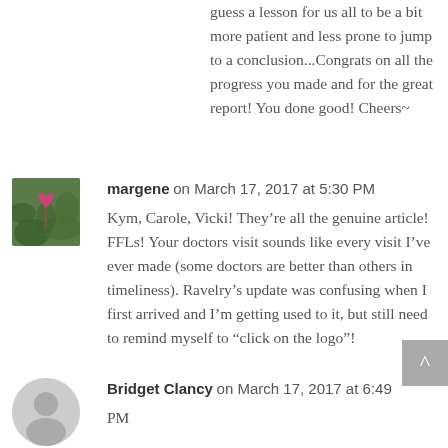guess a lesson for us all to be a bit more patient and less prone to jump to a conclusion...Congrats on all the progress you made and for the great report! You done good! Cheers~
margene on March 17, 2017 at 5:30 PM
Kym, Carole, Vicki! They're all the genuine article! FFLs! Your doctors visit sounds like every visit I've ever made (some doctors are better than others in timeliness). Ravelry's update was confusing when I first arrived and I'm getting used to it, but still need to remind myself to “click on the logo”!
Bridget Clancy on March 17, 2017 at 6:49 PM